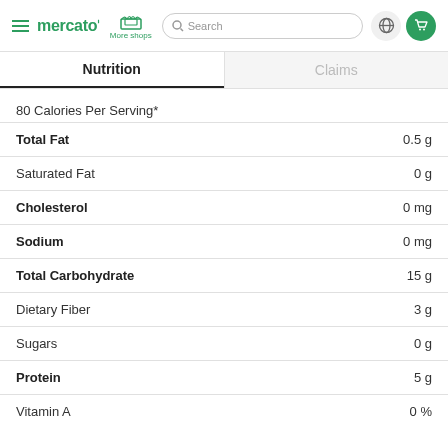mercato | More shops | Search | globe | cart
Nutrition
Claims
80 Calories Per Serving*
| Nutrient | Amount |
| --- | --- |
| Total Fat | 0.5 g |
| Saturated Fat | 0 g |
| Cholesterol | 0 mg |
| Sodium | 0 mg |
| Total Carbohydrate | 15 g |
| Dietary Fiber | 3 g |
| Sugars | 0 g |
| Protein | 5 g |
| Vitamin A | 0 % |